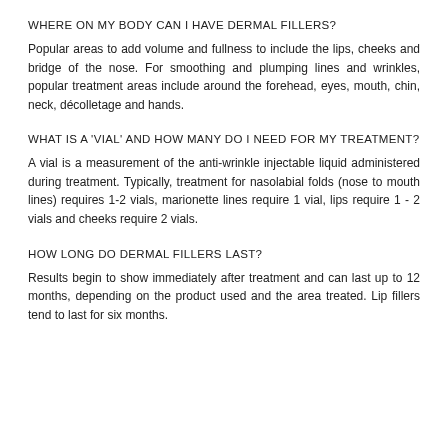WHERE ON MY BODY CAN I HAVE DERMAL FILLERS?
Popular areas to add volume and fullness to include the lips, cheeks and bridge of the nose. For smoothing and plumping lines and wrinkles, popular treatment areas include around the forehead, eyes, mouth, chin, neck, décolletage and hands.
WHAT IS A 'VIAL' AND HOW MANY DO I NEED FOR MY TREATMENT?
A vial is a measurement of the anti-wrinkle injectable liquid administered during treatment. Typically, treatment for nasolabial folds (nose to mouth lines) requires 1-2 vials, marionette lines require 1 vial, lips require 1 - 2 vials and cheeks require 2 vials.
HOW LONG DO DERMAL FILLERS LAST?
Results begin to show immediately after treatment and can last up to 12 months, depending on the product used and the area treated. Lip fillers tend to last for six months.